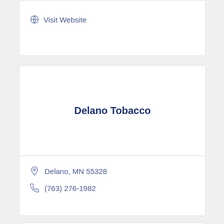Visit Website
Delano Tobacco
Delano, MN 55328
(763) 276-1982